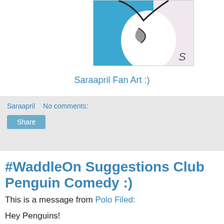[Figure (illustration): Partial illustration of a penguin character (Club Penguin fan art) with blue and white coloring and an 'S' character visible at bottom right]
Saraapril Fan Art :)
Saraapril   No comments:
Share
#WaddleOn Suggestions Club Penguin Comedy :)
This is a message from Polo Filed:
Hey Penguins!
Here are some possible ideas the team has for upcoming episodes of #WaddleOn... What do you think would happen in these scenes?